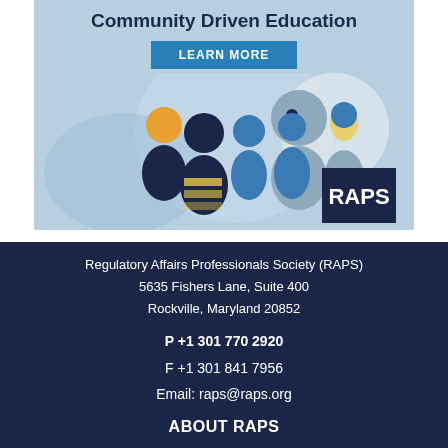[Figure (illustration): RAPS advertisement banner showing illustrated diverse group of people in blue tones with 'Community Driven Education' title, a 'LEARN MORE' button, and RAPS logo in dark navy square]
Regulatory Affairs Professionals Society (RAPS)
5635 Fishers Lane, Suite 400
Rockville, Maryland 20852
P +1 301 770 2920
F +1 301 841 7956
Email: raps@raps.org
ABOUT RAPS